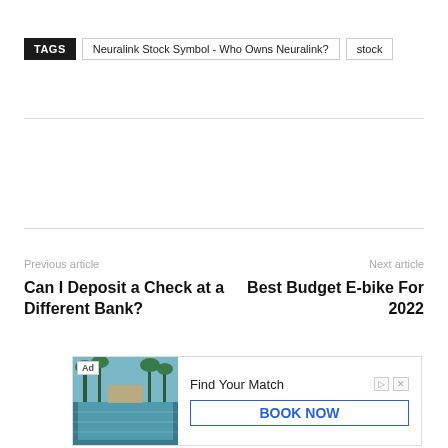TAGS  Neuralink Stock Symbol - Who Owns Neuralink?  stock
Previous article
Next article
Can I Deposit a Check at a Different Bank?
Best Budget E-bike For 2022
[Figure (other): Advertisement banner with resort pool photo, 'Ad' label, 'Find Your Match' heading, and 'BOOK NOW' button]